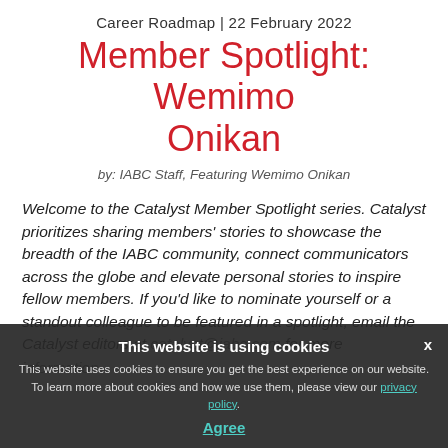Career Roadmap | 22 February 2022
Member Spotlight: Wemimo Onikan
by: IABC Staff, Featuring Wemimo Onikan
Welcome to the Catalyst Member Spotlight series. Catalyst prioritizes sharing members' stories to showcase the breadth of the IABC community, connect communicators across the globe and elevate personal stories to inspire fellow members. If you'd like to nominate yourself or a standout colleague to be featured in a spotlight, email the Catalyst editors at catalyst@iabc.com for more information.
This website is using cookies
This website uses cookies to ensure you get the best experience on our website. To learn more about cookies and how we use them, please view our privacy policy.
Agree